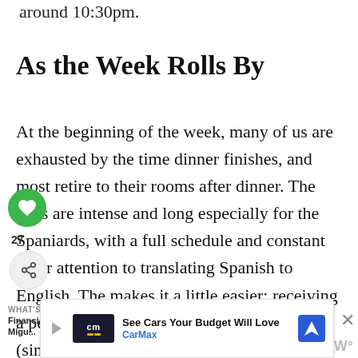around 10:30pm.
As the Week Rolls By
At the beginning of the week, many of us are exhausted by the time dinner finishes, and most retire to their rooms after dinner. The days are intense and long especially for the Spaniards, with a full schedule and constant inner attention to translating Spanish to English. The makes it a little easier; receiving a periodic hour of free time now and then (since there are ab...
[Figure (other): Green circular like/heart button overlay on article text]
[Figure (other): Share button overlay on article text]
[Figure (other): What's Next promo with Financial Case Study: Migu... thumbnail]
[Figure (other): CarMax advertisement banner: See Cars Your Budget Will Love]